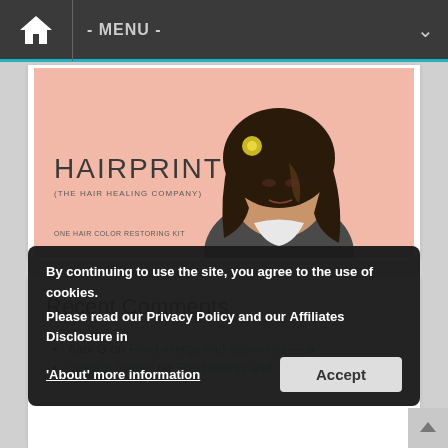- MENU -
[Figure (illustration): Hairprint (The Hair Healing Company) product box illustration. Pink background with illustrated woman with dark hair and a flower. Text reads: HAIRPRINT, (THE HAIR HEALING COMPANY), ONE HAIR COLOR RESTORING KIT]
Recent Comments
Alex G on Food allergy and cosmetics — a
Linda S Napier on Food allergy and cosmetics — a round up
By continuing to use the site, you agree to the use of cookies. Please read our Privacy Policy and our Affiliates Disclosure in 'About' more information
Accept